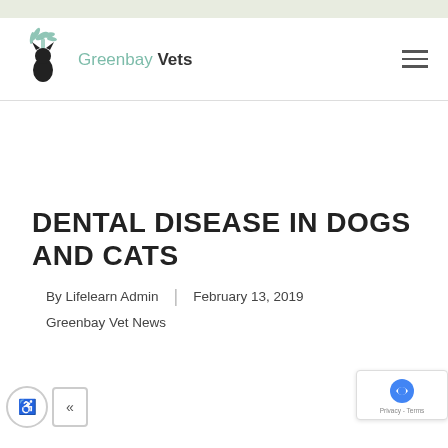[Figure (logo): Greenbay Vets logo with palm tree and cat/dog silhouette in teal/green, with text 'Greenbay Vets']
DENTAL DISEASE IN DOGS AND CATS
By Lifelearn Admin | February 13, 2019
Greenbay Vet News